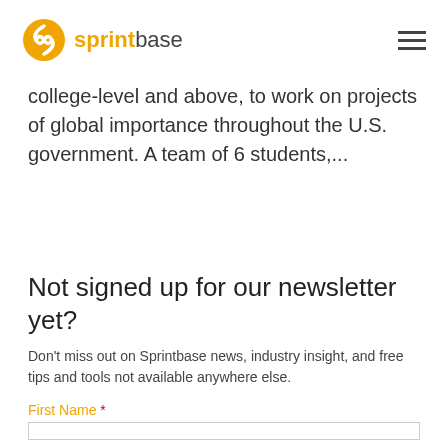sprintbase
college-level and above, to work on projects of global importance throughout the U.S. government. A team of 6 students,...
Not signed up for our newsletter yet?
Don't miss out on Sprintbase news, industry insight, and free tips and tools not available anywhere else.
First Name *